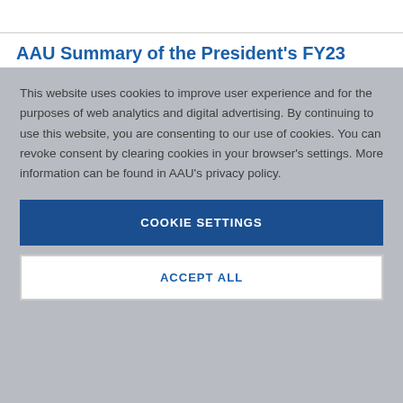AAU Summary of the President's FY23
This website uses cookies to improve user experience and for the purposes of web analytics and digital advertising. By continuing to use this website, you are consenting to our use of cookies. You can revoke consent by clearing cookies in your browser's settings. More information can be found in AAU's privacy policy.
COOKIE SETTINGS
ACCEPT ALL